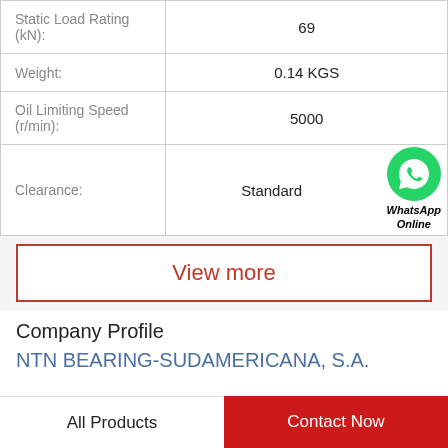| Property | Value |
| --- | --- |
| Static Load Rating (kN): | 69 |
| Weight: | 0.14 KGS |
| Oil Limiting Speed (r/min): | 5000 |
| Clearance: | Standard |
[Figure (logo): WhatsApp green phone icon with 'WhatsApp Online' text below]
View more
Company Profile
NTN BEARING-SUDAMERICANA, S.A.
All Products | Contact Now